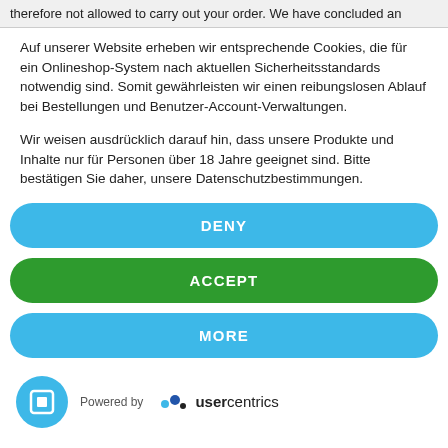therefore not allowed to carry out your order. We have concluded an
Auf unserer Website erheben wir entsprechende Cookies, die für ein Onlineshop-System nach aktuellen Sicherheitsstandards notwendig sind. Somit gewährleisten wir einen reibungslosen Ablauf bei Bestellungen und Benutzer-Account-Verwaltungen.
Wir weisen ausdrücklich darauf hin, dass unsere Produkte und Inhalte nur für Personen über 18 Jahre geeignet sind. Bitte bestätigen Sie daher, unsere Datenschutzbestimmungen.
DENY
ACCEPT
MORE
[Figure (logo): Usercentrics logo icon (blue circle with fingerprint/square icon) and 'Powered by usercentrics' text with dot pattern logo]